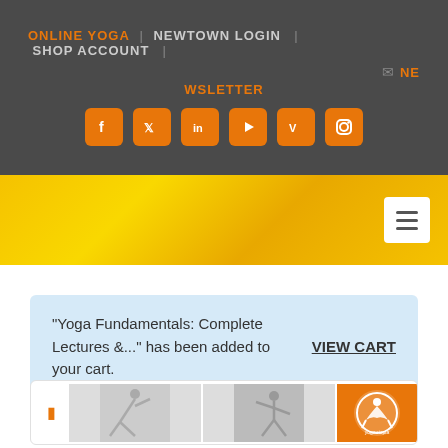ONLINE YOGA | NEWTOWN LOGIN | SHOP ACCOUNT | NE WSLETTER
[Figure (infographic): Social media icons row: Facebook, Twitter, LinkedIn, YouTube, Vimeo, Instagram — orange rounded square icons]
[Figure (infographic): Yellow textured banner with white hamburger menu button on right]
"Yoga Fundamentals: Complete Lectures &..." has been added to your cart.
VIEW CART
[Figure (photo): Product listing card showing two yoga pose photos and an orange yogautopia logo panel]